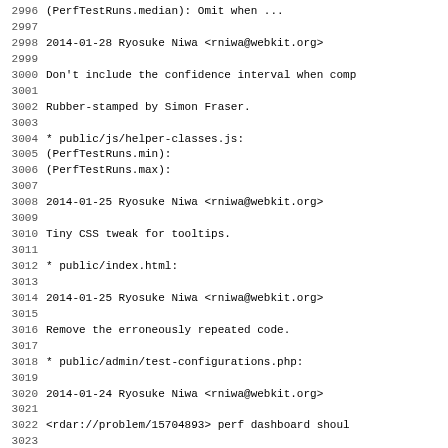2996 ... (PerfTestRuns.median): Omit when ...
2997
2998 2014-01-28  Ryosuke Niwa  <rniwa@webkit.org>
2999
3000        Don't include the confidence interval when comp
3001
3002        Rubber-stamped by Simon Fraser.
3003
3004        * public/js/helper-classes.js:
3005        (PerfTestRuns.min):
3006        (PerfTestRuns.max):
3007
3008 2014-01-25  Ryosuke Niwa  <rniwa@webkit.org>
3009
3010        Tiny CSS tweak for tooltips.
3011
3012        * public/index.html:
3013
3014 2014-01-25  Ryosuke Niwa  <rniwa@webkit.org>
3015
3016        Remove the erroneously repeated code.
3017
3018        * public/admin/test-configurations.php:
3019
3020 2014-01-24  Ryosuke Niwa  <rniwa@webkit.org>
3021
3022        <rdar://problem/15704893> perf dashboard shoul
3023
3024        Reviewed by Stephanie Lewis.
3025
3026        * public/admin/bug-trackers.php:
3027        (associated_repositories): Return an array of H
3028        Also fixed a typo.